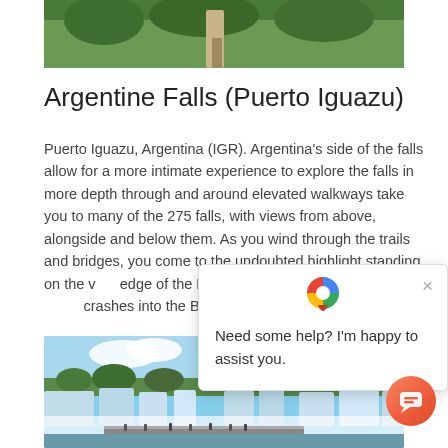[Figure (photo): Top portion of a photo showing green vegetation/jungle with a person visible from waist down]
Argentine Falls (Puerto Iguazu)
Puerto Iguazu, Argentina (IGR). Argentina's side of the falls allow for a more intimate experience to explore the falls in more depth through and around elevated walkways take you to many of the 275 falls, with views from above, alongside and below them. As you wind through the trails and bridges, you come to the undoubted highlight standing on the very edge of the Devil's throat, peering down as the water crashes into the Brazilian side below.
[Figure (photo): Wide panoramic photo of Iguazu Falls showing multiple cascading waterfalls with mist, blue sky, and a walkway/bridge in the foreground with visitors]